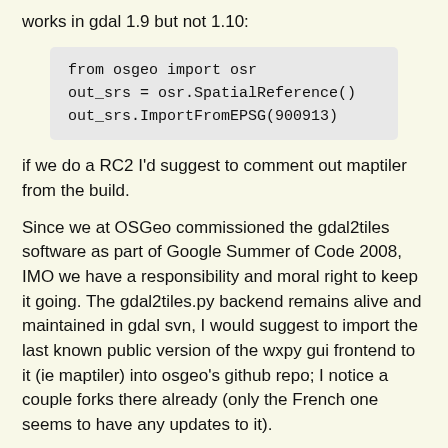works in gdal 1.9 but not 1.10:
if we do a RC2 I'd suggest to comment out maptiler from the build.
Since we at OSGeo commissioned the gdal2tiles software as part of Google Summer of Code 2008, IMO we have a responsibility and moral right to keep it going. The gdal2tiles.py backend remains alive and maintained in gdal svn, I would suggest to import the last known public version of the wxpy gui frontend to it (ie maptiler) into osgeo's github repo; I notice a couple forks there already (only the French one seems to have any updates to it).
The .deb we are using from googlecode contains the latest version, the svn repo there was abandoned and hidden at an earlier version. Changes to the copy of gdal2tiles in the maptiler deb were never committed to gdal svn, a diff should be made, useful things ported in, and the new maptiler git repo depend on the latest gdal